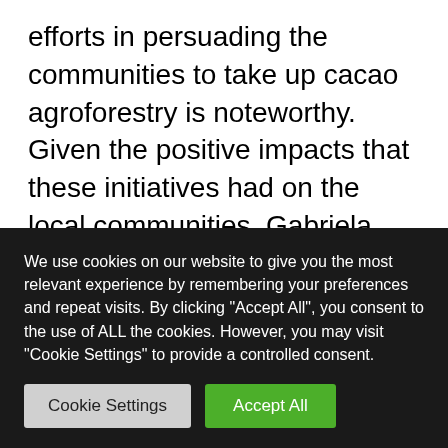efforts in persuading the communities to take up cacao agroforestry is noteworthy. Given the positive impacts that these initiatives had on the local communities, Gabriela wanted to see if the existing incentives were enough to motivate the younger generation to pursue cacao as a livelihood strategy. San Margin is still in the phase of transition from coca to cacao. However, the practice of cacao agroforestry is worried to decline as the youth opt to…
We use cookies on our website to give you the most relevant experience by remembering your preferences and repeat visits. By clicking "Accept All", you consent to the use of ALL the cookies. However, you may visit "Cookie Settings" to provide a controlled consent.